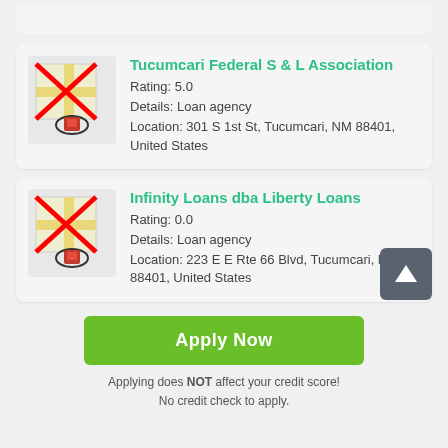[Figure (screenshot): Listing card for Tucumcari Federal S & L Association with map placeholder icon (red X over map), rating 5.0, details Loan agency, location 301 S 1st St Tucumcari NM 88401 United States]
[Figure (screenshot): Listing card for Infinity Loans dba Liberty Loans with map placeholder icon (red X over map), rating 0.0, details Loan agency, location 223 E E Rte 66 Blvd Tucumcari NM 88401 United States]
Apply Now
Applying does NOT affect your credit score! No credit check to apply.